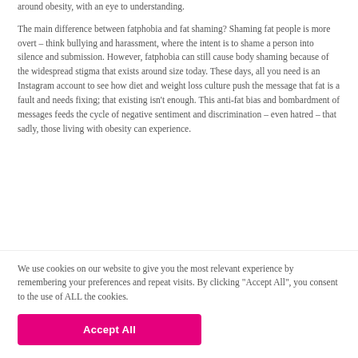around obesity, with an eye to understanding.
The main difference between fatphobia and fat shaming? Shaming fat people is more overt – think bullying and harassment, where the intent is to shame a person into silence and submission. However, fatphobia can still cause body shaming because of the widespread stigma that exists around size today. These days, all you need is an Instagram account to see how diet and weight loss culture push the message that fat is a fault and needs fixing; that existing isn't enough. This anti-fat bias and bombardment of messages feeds the cycle of negative sentiment and discrimination – even hatred – that sadly, those living with obesity can experience.
We use cookies on our website to give you the most relevant experience by remembering your preferences and repeat visits. By clicking "Accept All", you consent to the use of ALL the cookies.
Accept All